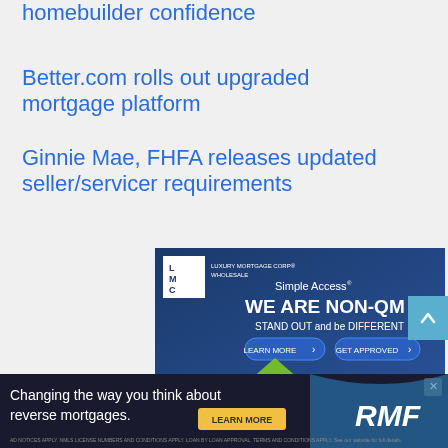homebuilder confidence
Better.com rolls out upgraded mortgage platform
Ginnie Mae, FHFA releases updated seller/servicer requirements
[Figure (advertisement): LMC Luxury Mortgage Corp Wholesale advertisement. Simple Access - WE ARE NON-QM. STAND OUT and be DIFFERENT. LEARN MORE and GET APPROVED buttons. Background shows paper origami boats with a green one standing out.]
[Figure (advertisement): Reverse Mortgage Funding (RMF) banner ad: Changing the way you think about reverse mortgages. LEARN MORE button. RMF logo.]